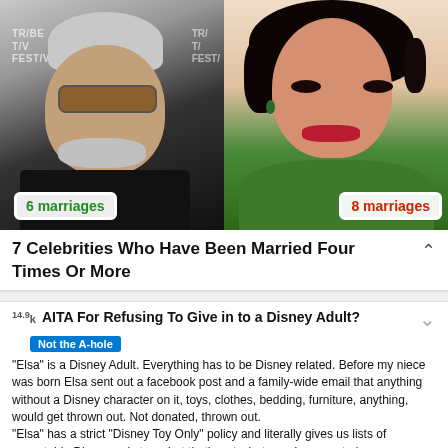[Figure (photo): Two celebrity photos side by side. Left: older man with gray hair and sunglasses at Tribeca TV Festival. Right: glamorous woman with dark hair and green dress. Overlaid badges: '6 marriages' (green) on left, '8 marriages' (red) on right.]
7 Celebrities Who Have Been Married Four Times Or More
14.9k  AITA For Refusing To Give in to a Disney Adult?
Not the A-hole
"Elsa" is a Disney Adult. Everything has to be Disney related. Before my niece was born Elsa sent out a facebook post and a family-wide email that anything without a Disney character on it, toys, clothes, bedding, furniture, anything, would get thrown out. Not donated, thrown out.
"Elsa" has a strict "Disney Toy Only" policy and literally gives us lists of acceptable Disney-only toys, but that's not what my niece wanted.
Pooperintendant [57]
NTA Does Disney have a psychiatrist character that Elsa would be willing to